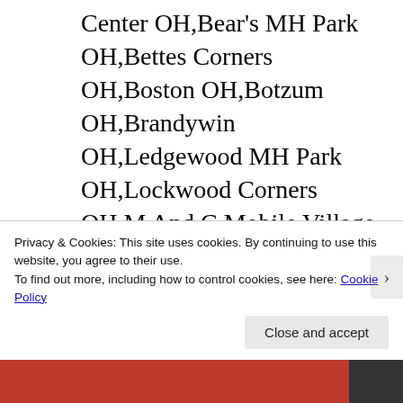Center OH,Bear's MH Park OH,Bettes Corners OH,Boston OH,Botzum OH,Brandywin OH,Ledgewood MH Park OH,Lockwood Corners OH,M And C Mobile Village OH,Manchester OH,Mayfield MH Park OH,Metz OH,Midway Trailer Court OH,Millheim OH,Myersville OH,Nemes Trailer Park OH,New
Privacy & Cookies: This site uses cookies. By continuing to use this website, you agree to their use.
To find out more, including how to control cookies, see here: Cookie Policy